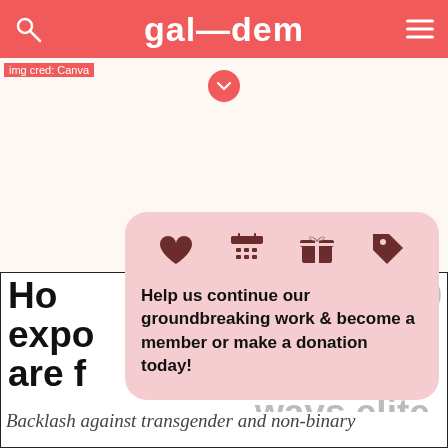gal—dem
img cred: Canva
[Figure (infographic): Popup card with heart, calendar, gift, and tag icons followed by membership/donation call to action text]
How the 2020 Olympics exposed the ways elite sports are failing at trans inclusion
Backlash against transgender and non-binary